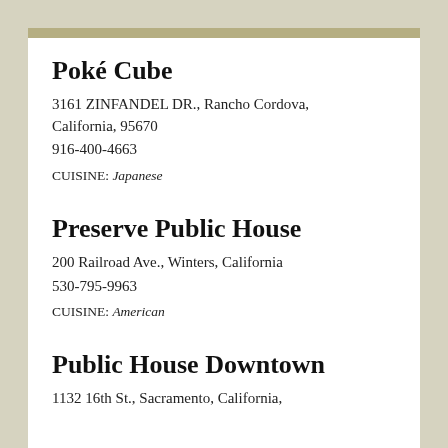Poké Cube
3161 ZINFANDEL DR., Rancho Cordova, California, 95670
916-400-4663
CUISINE: Japanese
Preserve Public House
200 Railroad Ave., Winters, California
530-795-9963
CUISINE: American
Public House Downtown
1132 16th St., Sacramento, California,